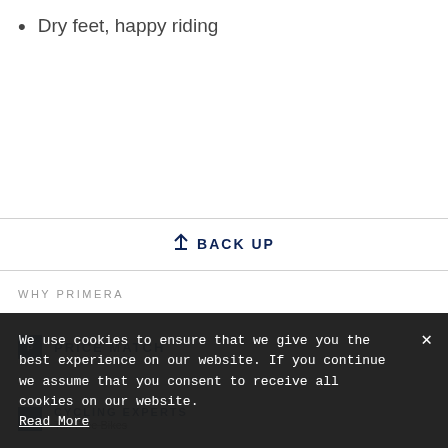Dry feet, happy riding
↑ BACK UP
WHY PRIMERA
PRICE MATCH
We use cookies to ensure that we give you the best experience on our website. If you continue we assume that you consent to receive all cookies on our website. Read More
CYCLING EXPERTS Tax-Free Bikes